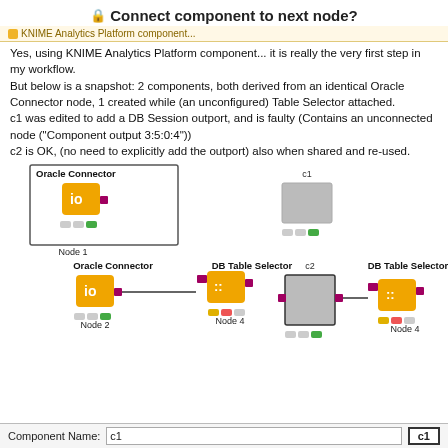Connect component to next node?
Yes, using KNIME Analytics Platform component... it is really the very first step in my workflow.
But below is a snapshot: 2 components, both derived from an identical Oracle Connector node, 1 created while (an unconfigured) Table Selector attached.
c1 was edited to add a DB Session outport, and is faulty (Contains an unconnected node (“Component output 3:5:0:4”))
c2 is OK, (no need to explicitly add the outport) also when shared and re-used.
[Figure (screenshot): Two workflow diagrams side by side. Top row: Oracle Connector node (Node 1) on left; c1 component (gray box with warning) on right. Bottom row: Oracle Connector (Node 2) connected to DB Table Selector (Node 4); c2 component connected to DB Table Selector (Node 4).]
Component Name: c1